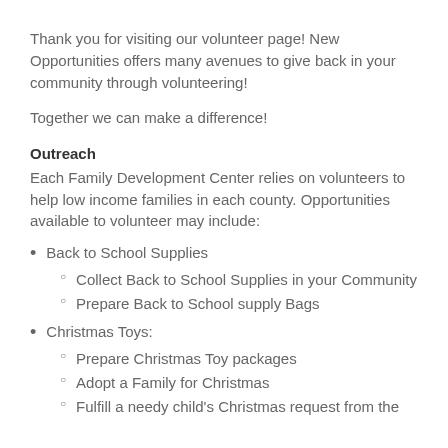Thank you for visiting our volunteer page! New Opportunities offers many avenues to give back in your community through volunteering!
Together we can make a difference!
Outreach
Each Family Development Center relies on volunteers to help low income families in each county. Opportunities available to volunteer may include:
Back to School Supplies
Collect Back to School Supplies in your Community
Prepare Back to School supply Bags
Christmas Toys:
Prepare Christmas Toy packages
Adopt a Family for Christmas
Fulfill a needy child's Christmas request from the